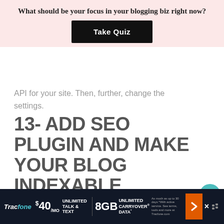What should be your focus in your blogging biz right now?
[Figure (other): Black 'Take Quiz' button on pink background]
API for your site. Then, further, change the settings.
13- ADD SEO PLUGIN AND MAKE YOUR BLOG INDEXABLE
Google is by far the best way to get traffic on your blog.
Hence, to list your blog on google you will
[Figure (other): Teal heart icon social share button with 3.8K count and share icon below]
[Figure (other): Tracfone advertisement banner: $40/mo Unlimited Talk & Text, 8GB Unlimited Carryover Data]